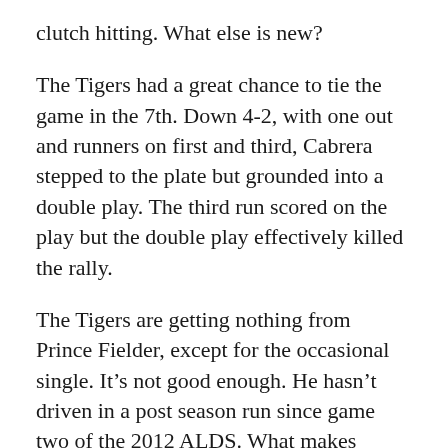clutch hitting.  What else is new?
The Tigers had a great chance to tie the game in the 7th.  Down 4-2, with one out and runners on first and third, Cabrera stepped to the plate but grounded into a double play.  The third run scored on the play but the double play effectively killed the rally.
The Tigers are getting nothing from Prince Fielder, except for the occasional single.  It’s not good enough.  He hasn’t driven in a post season run since game two of the 2012 ALDS.  What makes matters worse is that he is having horrible at bats.  Most of the time he falls behind 0-1 and ends up grounding into the defensive shift.  He’s pretty much become an